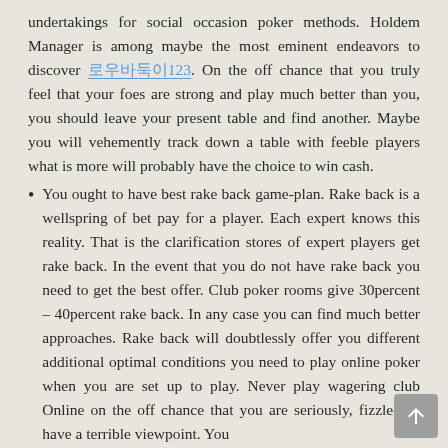undertakings for social occasion poker methods. Holdem Manager is among maybe the most eminent endeavors to discover 로우바둑이123. On the off chance that you truly feel that your foes are strong and play much better than you, you should leave your present table and find another. Maybe you will vehemently track down a table with feeble players what is more will probably have the choice to win cash.
You ought to have best rake back game-plan. Rake back is a wellspring of bet pay for a player. Each expert knows this reality. That is the clarification stores of expert players get rake back. In the event that you do not have rake back you need to get the best offer. Club poker rooms give 30percent – 40percent rake back. In any case you can find much better approaches. Rake back will doubtlessly offer you different additional optimal conditions you need to play online poker when you are set up to play. Never play wagering club Online on the off chance that you are seriously, fizzled or have a terrible viewpoint. You